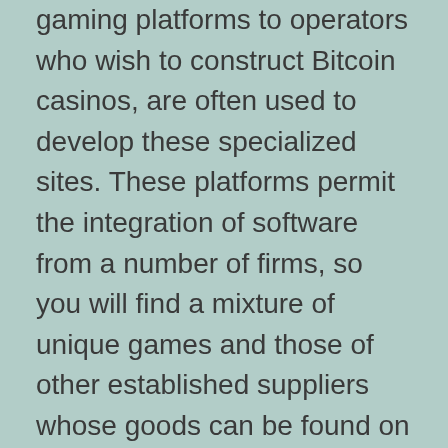gaming platforms to operators who wish to construct Bitcoin casinos, are often used to develop these specialized sites. These platforms permit the integration of software from a number of firms, so you will find a mixture of unique games and those of other established suppliers whose goods can be found on sites across the sector.
Consequently, if you visit a very big Bitcoin casino website, you may find a dozen or more roulette games. However, the games often fall under the following three categories:
If you've played roulette at a North American...